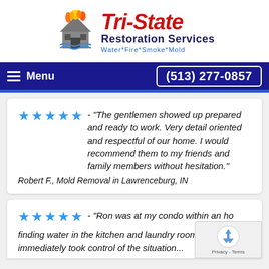[Figure (logo): Tri-State Restoration Services logo with house on fire illustration and tagline Water*Fire*Smoke*Mold]
Menu  (513) 277-0857
★★★★★ - "The gentlemen showed up prepared and ready to work. Very detail oriented and respectful of our home. I would recommend them to my friends and family members without hesitation."

Robert F., Mold Removal in Lawrenceburg, IN
★★★★★ - "Ron was at my condo within an ho... finding water in the kitchen and laundry rooms. He... immediately took control of the situation..."